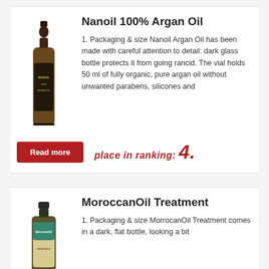Nanoil 100% Argan Oil
1. Packaging & size Nanoil Argan Oil has been made with careful attention to detail: dark glass bottle protects it from going rancid. The vial holds 50 ml of fully organic, pure argan oil without unwanted parabens, silicones and
Read more
place in ranking: 4.
MoroccanOil Treatment
1. Packaging & size MorrocanOil Treatment comes in a dark, flat bottle, looking a bit